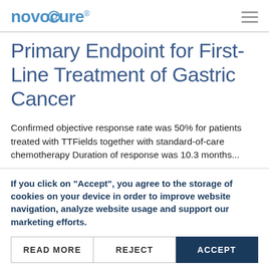novocure®
Primary Endpoint for First-Line Treatment of Gastric Cancer
Confirmed objective response rate was 50% for patients treated with TTFields together with standard-of-care chemotherapy Duration of response was 10.3 months...
If you click on "Accept", you agree to the storage of cookies on your device in order to improve website navigation, analyze website usage and support our marketing efforts.
READ MORE  REJECT  ACCEPT